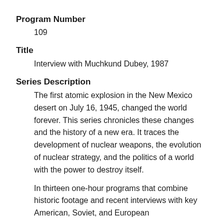Program Number
109
Title
Interview with Muchkund Dubey, 1987
Series Description
The first atomic explosion in the New Mexico desert on July 16, 1945, changed the world forever. This series chronicles these changes and the history of a new era. It traces the development of nuclear weapons, the evolution of nuclear strategy, and the politics of a world with the power to destroy itself.
In thirteen one-hour programs that combine historic footage and recent interviews with key American, Soviet, and European...